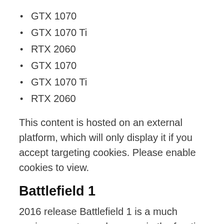GTX 1070
GTX 1070 Ti
RTX 2060
GTX 1070
GTX 1070 Ti
RTX 2060
This content is hosted on an external platform, which will only display it if you accept targeting cookies. Please enable cookies to view.
Battlefield 1
2016 release Battlefield 1 is a much easier game to render, even in the frantic singleplayer level we've opted to show at ultra settings. All three cards are above 100 fps at 1080p, allowing them to make use of a high refresh rate 1080p monitor.